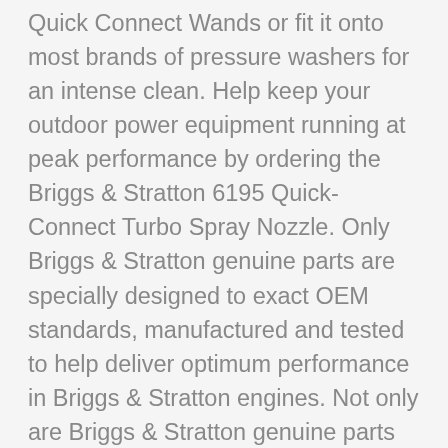Quick Connect Wands or fit it onto most brands of pressure washers for an intense clean. Help keep your outdoor power equipment running at peak performance by ordering the Briggs & Stratton 6195 Quick-Connect Turbo Spray Nozzle. Only Briggs & Stratton genuine parts are specially designed to exact OEM standards, manufactured and tested to help deliver optimum performance in Briggs & Stratton engines. Not only are Briggs & Stratton genuine parts guaranteed to fit, but using them also ensures that the Briggs & Stratton engine they are installed on complies with applicable (EPA) emission regulations. For more than a century, Briggs & Stratton branded engines and power equipment have helped consumers get the job done. Known for hard-working, dependable, efficient products, Briggs & Stratton is the world's largest producer of gasoline engines for outdoor power equipment. Briggs & Stratton products are designed, manufactured, marketed